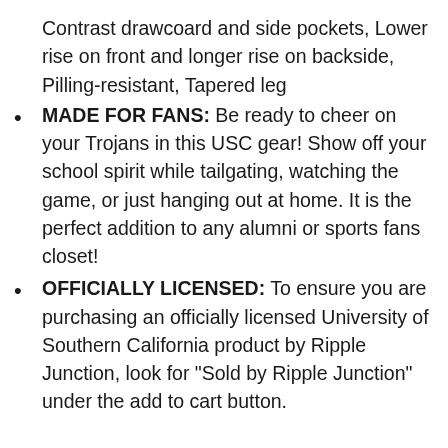Contrast drawcoard and side pockets, Lower rise on front and longer rise on backside, Pilling-resistant, Tapered leg
MADE FOR FANS: Be ready to cheer on your Trojans in this USC gear! Show off your school spirit while tailgating, watching the game, or just hanging out at home. It is the perfect addition to any alumni or sports fans closet!
OFFICIALLY LICENSED: To ensure you are purchasing an officially licensed University of Southern California product by Ripple Junction, look for “Sold by Ripple Junction” under the add to cart button.